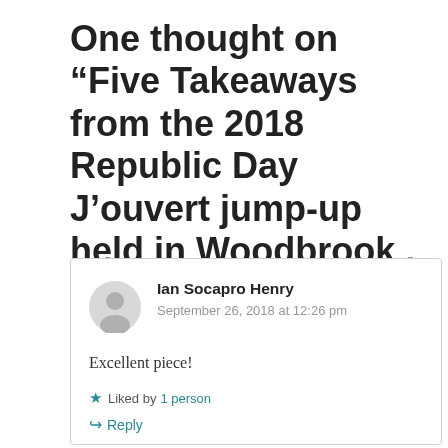One thought on “Five Takeaways from the 2018 Republic Day J’ouvert jump-up held in Woodbrook , Trinidad”
Ian Socapro Henry
September 26, 2018 at 12:26 pm

Excellent piece!

★ Liked by 1 person
↲ Reply